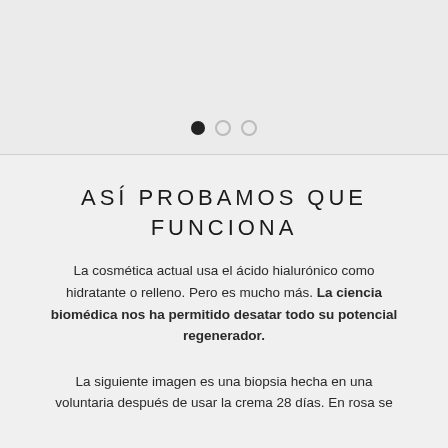[Figure (other): UI carousel navigation dots: one filled black dot and two outline dots]
ASÍ PROBAMOS QUE FUNCIONA
La cosmética actual usa el ácido hialurónico como hidratante o relleno. Pero es mucho más. La ciencia biomédica nos ha permitido desatar todo su potencial regenerador.
La siguiente imagen es una biopsia hecha en una voluntaria después de usar la crema 28 días. En rosa se